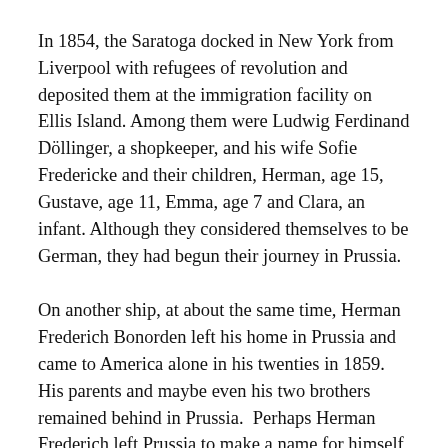In 1854, the Saratoga docked in New York from Liverpool with refugees of revolution and deposited them at the immigration facility on Ellis Island. Among them were Ludwig Ferdinand Döllinger, a shopkeeper, and his wife Sofie Fredericke and their children, Herman, age 15, Gustave, age 11, Emma, age 7 and Clara, an infant. Although they considered themselves to be German, they had begun their journey in Prussia.
On another ship, at about the same time, Herman Frederich Bonorden left his home in Prussia and came to America alone in his twenties in 1859.  His parents and maybe even his two brothers remained behind in Prussia.  Perhaps Herman Frederich left Prussia to make a name for himself, separate from his famous father. (At least he spelled it differently.)